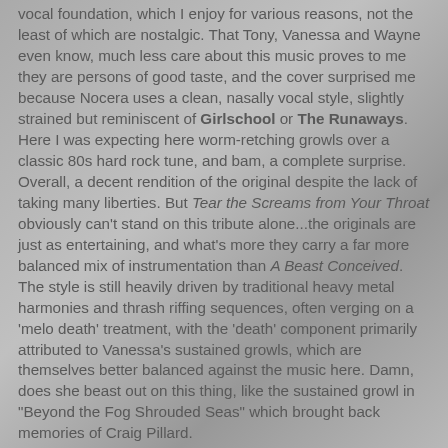vocal foundation, which I enjoy for various reasons, not the least of which are nostalgic. That Tony, Vanessa and Wayne even know, much less care about this music proves to me they are persons of good taste, and the cover surprised me because Nocera uses a clean, nasally vocal style, slightly strained but reminiscent of Girlschool or The Runaways. Here I was expecting here worm-retching growls over a classic 80s hard rock tune, and bam, a complete surprise. Overall, a decent rendition of the original despite the lack of taking many liberties. But Tear the Screams from Your Throat obviously can't stand on this tribute alone...the originals are just as entertaining, and what's more they carry a far more balanced mix of instrumentation than A Beast Conceived. The style is still heavily driven by traditional heavy metal harmonies and thrash riffing sequences, often verging on a 'melo death' treatment, with the 'death' component primarily attributed to Vanessa's sustained growls, which are themselves better balanced against the music here. Damn, does she beast out on this thing, like the sustained growl in "Beyond the Fog Shrouded Seas" which brought back memories of Craig Pillard.
This shit is pretty catchy, like popping candy in your...